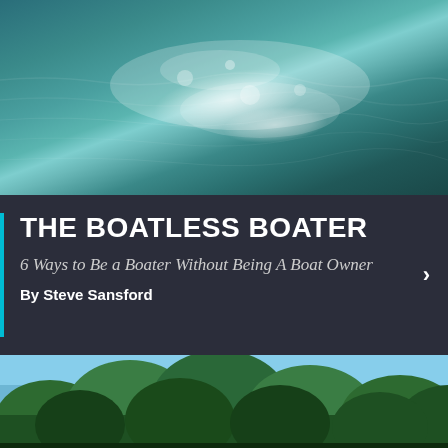[Figure (photo): Aerial view of ocean/lake water with white foam/wake patterns on dark blue-green choppy water surface]
THE BOATLESS BOATER
6 Ways to Be a Boater Without Being A Boat Owner
By Steve Sansford
[Figure (photo): Green forest trees with blue sky in background, view from water level]
Home | Popular | Subscribe | Menu